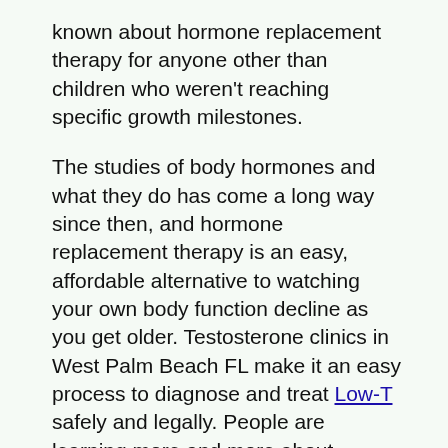known about hormone replacement therapy for anyone other than children who weren't reaching specific growth milestones.
The studies of body hormones and what they do has come a long way since then, and hormone replacement therapy is an easy, affordable alternative to watching your own body function decline as you get older. Testosterone clinics in West Palm Beach FL make it an easy process to diagnose and treat Low-T safely and legally. People are learning more and more about testosterone and how replenishment therapy can benefit older adults.
If you have noticed that your body is going through certain changes, if you've noticed that you are gaining weight faster than you used to, if you are experiencing a loss of energy that you can't seem to get back, if your